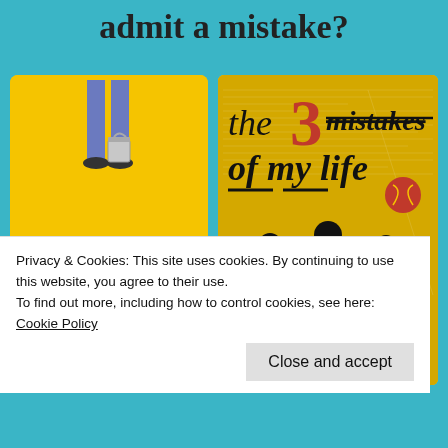admit a mistake?
[Figure (photo): Book cover of 'Mistakes Were Made (but not by me)' by Carol Tavris and Elliot Aronson — yellow cover with person standing next to a paint can]
[Figure (photo): Book cover of 'The 3 Mistakes of My Life' — yellow cover with three black silhouettes of men and a cricket ball]
Privacy & Cookies: This site uses cookies. By continuing to use this website, you agree to their use.
To find out more, including how to control cookies, see here: Cookie Policy
Close and accept